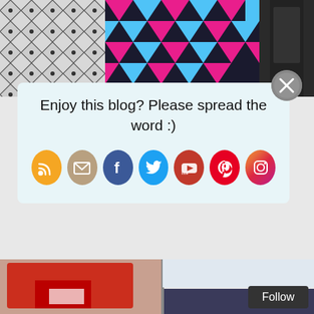[Figure (photo): Top strip of fashion images: quilted fabric on left, colorful geometric print in center, dark jacket on right]
[Figure (infographic): Popup overlay with social sharing icons: RSS (orange), Email (tan), Facebook (blue), Twitter (blue), YouTube (red), Pinterest (red), Instagram (gradient). Text: Enjoy this blog? Please spread the word :)]
Enjoy this blog? Please spread the word :)
[Figure (photo): Collage of fashion shoes: red patent leather pointed-toe heels with square buckle, white flat with blue square buckle, navy sandal with buckle detail]
Follow